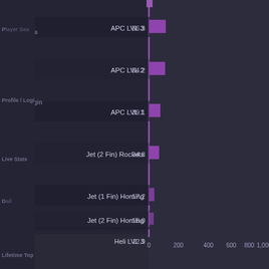[Figure (bar-chart): Player Search / Vehicle Usage]